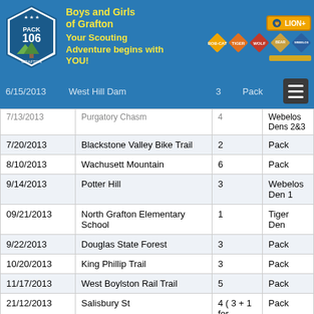[Figure (logo): Pack 106 Grafton logo with scouting ranks banner: Boys and Girls of Grafton - Your Scouting Adventure begins with YOU! Lion, Bobcat, Tiger, Wolf, Bear, Webelos rank icons.]
| Date | Location | Miles | Who |
| --- | --- | --- | --- |
| 6/15/2013 | West Hill Dam | 3 | Pack |
| 7/13/2013 | Purgatory Chasm | 4 | Webelos Dens 2&3 |
| 7/20/2013 | Blackstone Valley Bike Trail | 2 | Pack |
| 8/10/2013 | Wachusett Mountain | 6 | Pack |
| 9/14/2013 | Potter Hill | 3 | Webelos Den 1 |
| 09/21/2013 | North Grafton Elementary School | 1 | Tiger Den |
| 9/22/2013 | Douglas State Forest | 3 | Pack |
| 10/20/2013 | King Phillip Trail | 3 | Pack |
| 11/17/2013 | West Boylston Rail Trail | 5 | Pack |
| 21/12/2013 | Salisbury St | 4 ( 3 + 1 for | Pack |